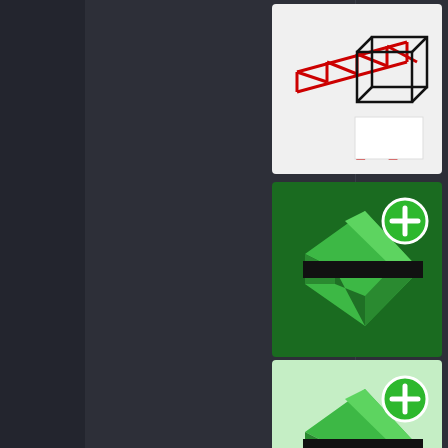[Figure (screenshot): Dark UI panel - left sidebar with darker background]
[Figure (logo): CAD/architecture software icon with red structural lines and black letter A]
[Figure (logo): Green 3D arrow/star icon with green plus badge - software plugin icon]
[Figure (logo): Green 3D arrow/star icon with green plus badge on light green background - software plugin icon]
[Figure (donut-chart): Donut chart with blue, orange, gray, and yellow segments with white center hole]